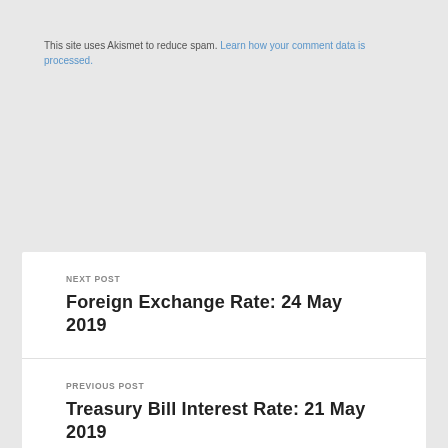This site uses Akismet to reduce spam. Learn how your comment data is processed.
NEXT POST
Foreign Exchange Rate: 24 May 2019
PREVIOUS POST
Treasury Bill Interest Rate: 21 May 2019